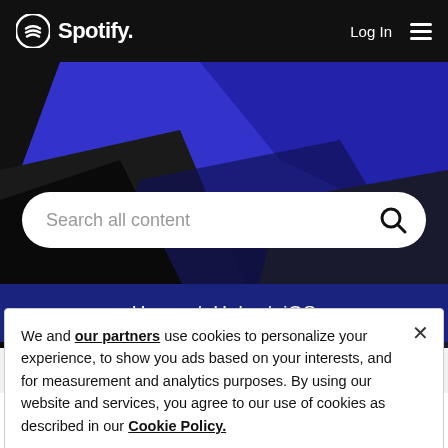Spotify — Log In
[Figure (screenshot): Spotify website hero section with dark background and blue geometric shapes]
Search all content
Home / Help / iOS
Topics with Label: HTML tag
We and our partners use cookies to personalize your experience, to show you ads based on your interests, and for measurement and analytics purposes. By using our website and services, you agree to our use of cookies as described in our Cookie Policy.